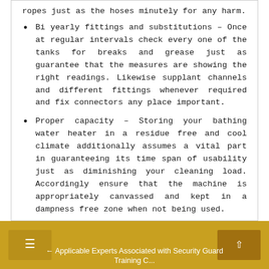ropes just as the hoses minutely for any harm.
Bi yearly fittings and substitutions – Once at regular intervals check every one of the tanks for breaks and grease just as guarantee that the measures are showing the right readings. Likewise supplant channels and different fittings whenever required and fix connectors any place important.
Proper capacity – Storing your bathing water heater in a residue free and cool climate additionally assumes a vital part in guaranteeing its time span of usability just as diminishing your cleaning load. Accordingly ensure that the machine is appropriately canvassed and kept in a dampness free zone when not being used.
← Applicable Experts Associated with Security Guard Training C...